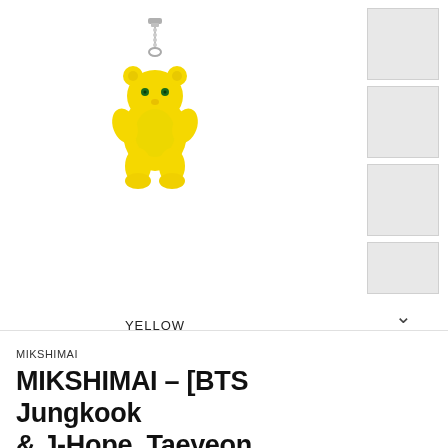[Figure (photo): Yellow gummy bear charm necklace pendant on a silver chain connector, photographed on white background]
YELLOW
[Figure (photo): Thumbnail sidebar with 4 product photo thumbnails and a down chevron arrow]
MIKSHIMAI
MIKSHIMAI - [BTS Jungkook & J-Hope, Taeyeon Wears!] Gummy Bear Necklace
$181.42 CAD